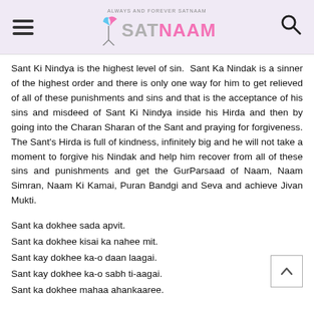ALWAYS AND FOREVER SATNAAM — SATNAAM
Sant Ki Nindya is the highest level of sin.  Sant Ka Nindak is a sinner of the highest order and there is only one way for him to get relieved of all of these punishments and sins and that is the acceptance of his sins and misdeed of Sant Ki Nindya inside his Hirda and then by going into the Charan Sharan of the Sant and praying for forgiveness. The Sant's Hirda is full of kindness, infinitely big and he will not take a moment to forgive his Nindak and help him recover from all of these sins and punishments and get the GurParsaad of Naam, Naam Simran, Naam Ki Kamai, Puran Bandgi and Seva and achieve Jivan Mukti.
Sant ka dokhee sada apvit.
Sant ka dokhee kisai ka nahee mit.
Sant kay dokhee ka-o daan laagai.
Sant kay dokhee ka-o sabh ti-aagai.
Sant ka dokhee mahaa ahankaaree.